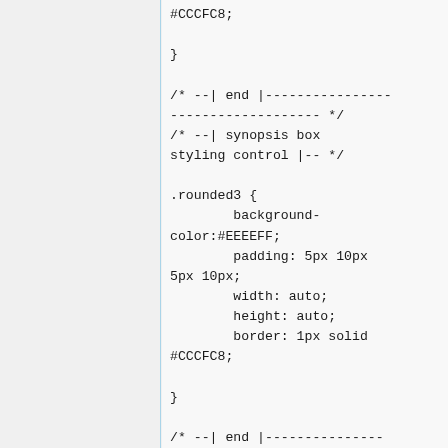#CCCFC8;

}

/* --| end |--------------------------------- */
/* --| synopsis box styling control |-- */

.rounded3 {
        background-color:#EEEEFF;
        padding: 5px 10px 5px 10px;
        width: auto;
        height: auto;
        border: 1px solid #CCCFC8;

}

/* --| end |--------------------------------- */
/* -------------------------